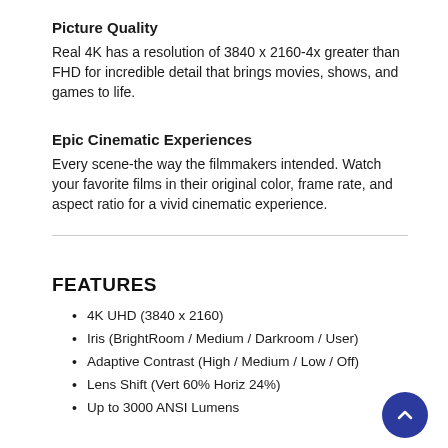Picture Quality
Real 4K has a resolution of 3840 x 2160-4x greater than FHD for incredible detail that brings movies, shows, and games to life.
Epic Cinematic Experiences
Every scene-the way the filmmakers intended. Watch your favorite films in their original color, frame rate, and aspect ratio for a vivid cinematic experience.
FEATURES
4K UHD (3840 x 2160)
Iris (BrightRoom / Medium / Darkroom / User)
Adaptive Contrast (High / Medium / Low / Off)
Lens Shift (Vert 60% Horiz 24%)
Up to 3000 ANSI Lumens